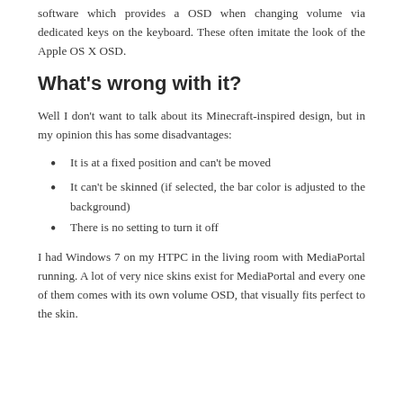software which provides a OSD when changing volume via dedicated keys on the keyboard. These often imitate the look of the Apple OS X OSD.
What’s wrong with it?
Well I don’t want to talk about its Minecraft-inspired design, but in my opinion this has some disadvantages:
It is at a fixed position and can’t be moved
It can’t be skinned (if selected, the bar color is adjusted to the background)
There is no setting to turn it off
I had Windows 7 on my HTPC in the living room with MediaPortal running. A lot of very nice skins exist for MediaPortal and every one of them comes with its own volume OSD, that visually fits perfect to the skin.